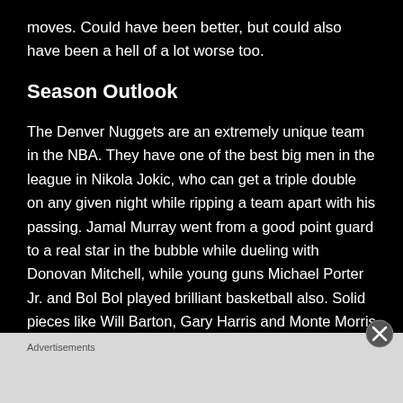moves. Could have been better, but could also have been a hell of a lot worse too.
Season Outlook
The Denver Nuggets are an extremely unique team in the NBA. They have one of the best big men in the league in Nikola Jokic, who can get a triple double on any given night while ripping a team apart with his passing. Jamal Murray went from a good point guard to a real star in the bubble while dueling with Donovan Mitchell, while young guns Michael Porter Jr. and Bol Bol played brilliant basketball also. Solid pieces like Will Barton, Gary Harris and Monte Morris contribute in no small degree to this well-oiled machine.
Advertisements